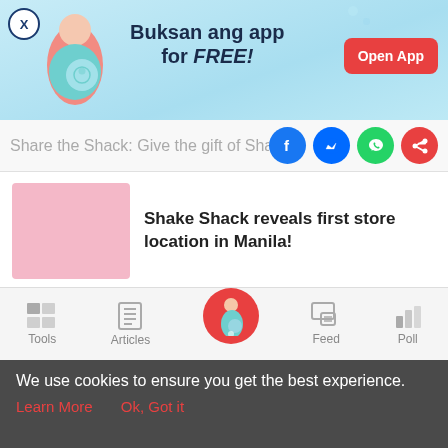[Figure (infographic): Mobile app advertisement banner with blue background showing pregnant woman illustration. Text says 'Buksan ang app for FREE!' with an 'Open App' red button and a close X button.]
Share the Shack: Give the gift of Sha
Shake Shack reveals first store location in Manila!
Burger Steak 101: Paano Gumawa ng Langhap Sarap na Burger Steak?
[Figure (screenshot): Bottom navigation bar with Tools, Articles, Home (pregnant woman icon center highlighted in pink), Feed, and Poll icons]
We use cookies to ensure you get the best experience.
Learn More    Ok, Got it